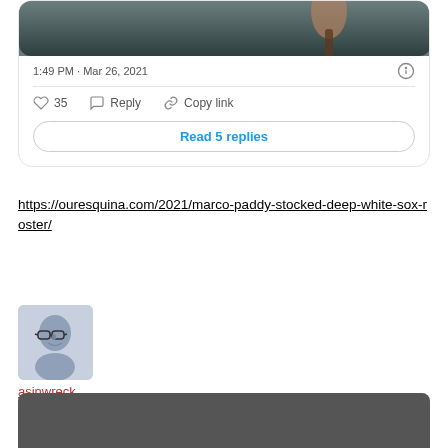[Figure (screenshot): Top portion of a tweet card showing a cropped photo of a person holding a bat, partially visible]
1:49 PM · Mar 26, 2021
35  Reply  Copy link
Read 5 replies
https://ouresquina.com/2021/marco-paddy-stocked-deep-white-sox-roster/
[Figure (photo): User avatar showing a black-and-white illustrated/photo portrait of a man with glasses]
asinwreck